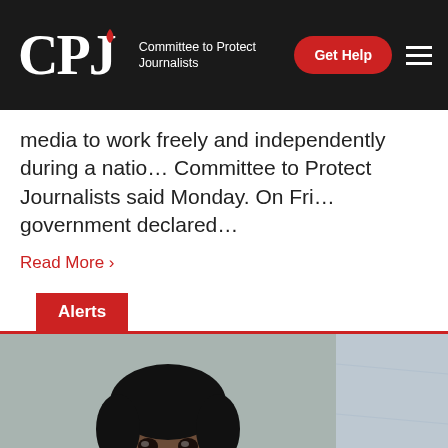CPJ — Committee to Protect Journalists
media to work freely and independently during a natio... Committee to Protect Journalists said Monday. On Fri... government declared…
Read More ›
Alerts
[Figure (photo): Portrait photo of a smiling man with dark curly hair against a gray background]
[Figure (photo): Partial second photo, appears to show a gray/textured background]